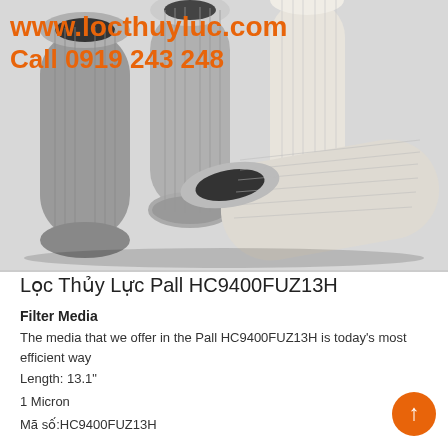[Figure (photo): Multiple hydraulic filter cartridges (Pall HC9400FUZ13H) arranged together, showing cylindrical filter elements with pleated media. Overlaid orange bold text shows website URL and phone number.]
Lọc Thủy Lực Pall HC9400FUZ13H
Filter Media
The media that we offer in the Pall HC9400FUZ13H is today's most efficient way
Length: 13.1"
1 Micron
Mã số:HC9400FUZ13H